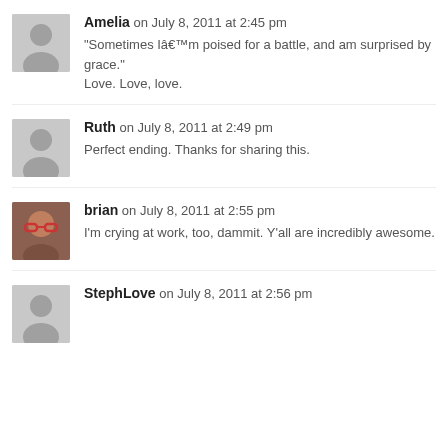Amelia on July 8, 2011 at 2:45 pm
“Sometimes Iâm poised for a battle, and am surprised by grace.”
Love. Love, love.
Ruth on July 8, 2011 at 2:49 pm
Perfect ending. Thanks for sharing this.
brian on July 8, 2011 at 2:55 pm
I’m crying at work, too, dammit. Y’all are incredibly awesome.
StephLove on July 8, 2011 at 2:56 pm